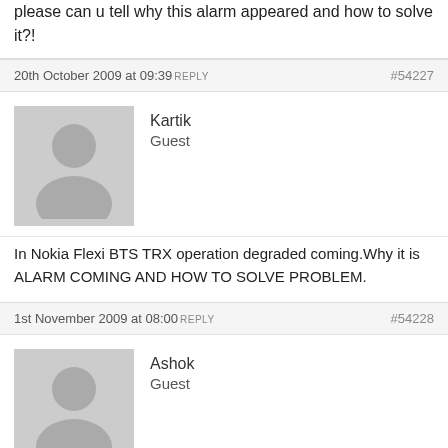please can u tell why this alarm appeared and how to solve it?!
20th October 2009 at 09:39 REPLY #54227
Kartik
Guest
In Nokia Flexi BTS TRX operation degraded coming.Why it is ALARM COMING AND HOW TO SOLVE PROBLEM.
1st November 2009 at 08:00 REPLY #54228
Ashok
Guest
What is the fbus alarm and what to do. this alarm clearetion.